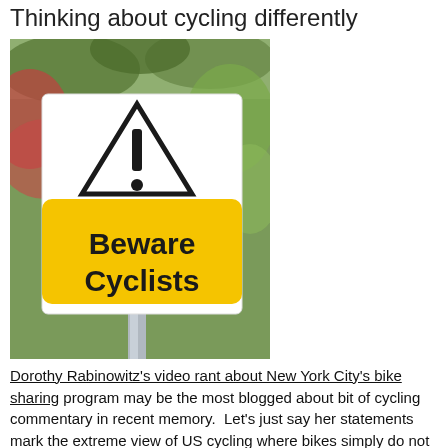Thinking about cycling differently
[Figure (photo): A road sign on a post surrounded by trees showing a yellow warning sign reading 'Beware Cyclists' with a hazard triangle above it]
Dorothy Rabinowitz's video rant about New York City's bike sharing program may be the most blogged about bit of cycling commentary in recent memory.  Let's just say her statements mark the extreme view of US cycling where bikes simply do not belong on streets or in cities (and here's a link to learn about the real bike lobby, not the mythical one Rabinowitz described).  There's been some more local hoo-ha about cyclists vs. drivers,